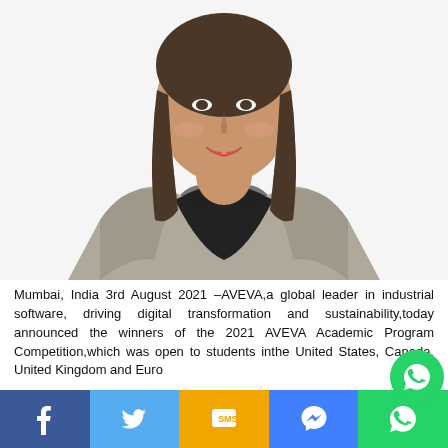[Figure (photo): Professional headshot of a smiling woman with brown shoulder-length hair wearing a black top and grey blazer, on a white background]
Mumbai, India 3rd August 2021 –AVEVA,a global leader in industrial software, driving digital transformation and sustainability,today announced the winners of the 2021 AVEVA Academic Program Competition,which was open to students inthe United States, Canada, United Kingdom and Euro...